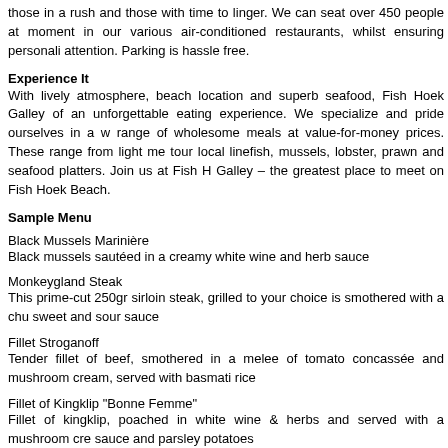those in a rush and those with time to linger. We can seat over 450 people at moment in our various air-conditioned restaurants, whilst ensuring personali attention. Parking is hassle free.
Experience It
With lively atmosphere, beach location and superb seafood, Fish Hoek Galley of an unforgettable eating experience. We specialize and pride ourselves in a w range of wholesome meals at value-for-money prices. These range from light me tour local linefish, mussels, lobster, prawn and seafood platters. Join us at Fish H Galley – the greatest place to meet on Fish Hoek Beach.
Sample Menu
Black Mussels Marinière
Black mussels sautéed in a creamy white wine and herb sauce
Monkeygland Steak
This prime-cut 250gr sirloin steak, grilled to your choice is smothered with a chu sweet and sour sauce
Fillet Stroganoff
Tender fillet of beef, smothered in a melee of tomato concassée and mushroom cream, served with basmati rice
Fillet of Kingklip "Bonne Femme"
Fillet of kingklip, poached in white wine & herbs and served with a mushroom cre sauce and parsley potatoes
Calamari
Deep fried calamari rings served with rice and your choice of sauce (tartar, lem butter or garlic butter)